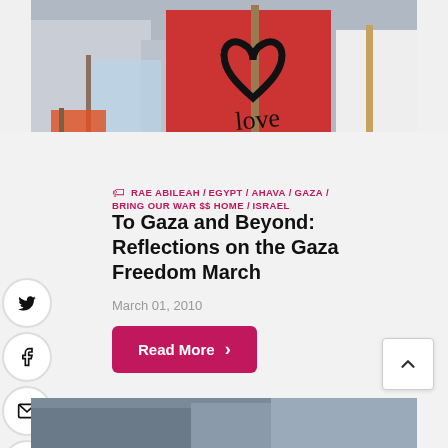[Figure (photo): Protest signs at a demonstration; prominent red sign with a hand-drawn heart and the word 'love' written in script]
RAE ABILEAH  EGYPT  AHAVA  GAZA  BRING OUR WAR $$ HOME  ISRAEL
To Gaza and Beyond: Reflections on the Gaza Freedom March
March 01, 2010
Read More
[Figure (photo): Bottom partial image strip showing another article's featured image]